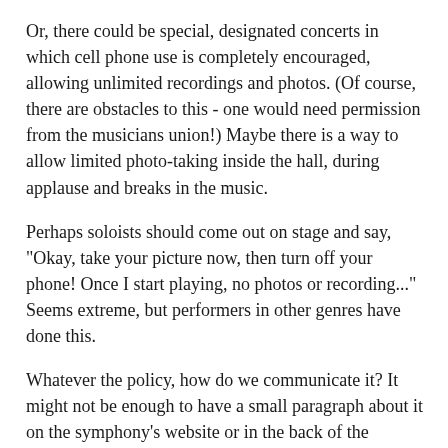Or, there could be special, designated concerts in which cell phone use is completely encouraged, allowing unlimited recordings and photos. (Of course, there are obstacles to this - one would need permission from the musicians union!) Maybe there is a way to allow limited photo-taking inside the hall, during applause and breaks in the music.
Perhaps soloists should come out on stage and say, "Okay, take your picture now, then turn off your phone! Once I start playing, no photos or recording..." Seems extreme, but performers in other genres have done this.
Whatever the policy, how do we communicate it? It might not be enough to have a small paragraph about it on the symphony's website or in the back of the program. Is it necessary to make an announcement before every performance? Possibly. What other ways would be helpful?
And then how do symphonies and classical venues enforce the